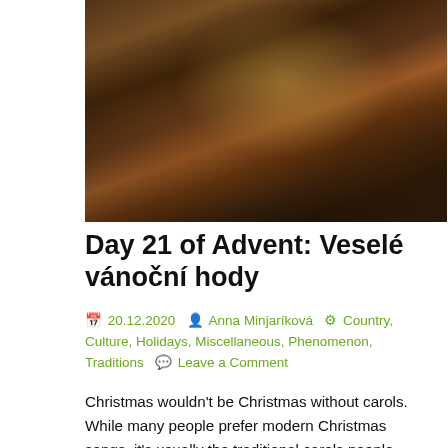[Figure (photo): Close-up photograph of Christmas decorations including ornaments, pine cones, candle, and warm bokeh lighting on a dark background]
Day 21 of Advent: Veselé vánoční hody
📅 20.12.2020  👤 Anna Minjaríková  ⚙ Country, Culture, Holidays, Miscellaneous, Phenomenon, Traditions  💬 Leave a Comment
Christmas wouldn't be Christmas without carols. While many people prefer modern Christmas songs, it's usually the traditional carols people prefer to sing. After all, they are usually much less difficult to sing as they – at least in most cases – don't require large vocal range and good singing skills. Not everybody can, for example, manage to sing the main song from